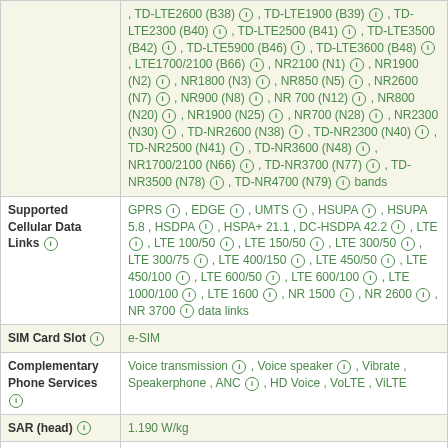| Feature | Value |
| --- | --- |
| (bands continued) | , TD-LTE2600 (B38) , TD-LTE1900 (B39) , TD-LTE2300 (B40) , TD-LTE2500 (B41) , TD-LTE3500 (B42) , TD-LTE5900 (B46) , TD-LTE3600 (B48) , LTE1700/2100 (B66) , NR2100 (N1) , NR1900 (N2) , NR1800 (N3) , NR850 (N5) , NR2600 (N7) , NR900 (N8) , NR 700 (N12) , NR800 (N20) , NR1900 (N25) , NR700 (N28) , NR2300 (N30) , TD-NR2600 (N38) , TD-NR2300 (N40) , TD-NR2500 (N41) , TD-NR3600 (N48) , NR1700/2100 (N66) , TD-NR3700 (N77) , TD-NR3500 (N78) , TD-NR4700 (N79) bands |
| Supported Cellular Data Links | GPRS , EDGE , UMTS , HSUPA , HSUPA 5.8 , HSDPA , HSPA+ 21.1 , DC-HSDPA 42.2 , LTE , LTE 100/50 , LTE 150/50 , LTE 300/50 , LTE 300/75 , LTE 400/150 , LTE 450/50 , LTE 450/100 , LTE 600/50 , LTE 600/100 , LTE 1000/100 , LTE 1600 , NR 1500 , NR 2600 , NR 3700 data links |
| SIM Card Slot | e-SIM |
| Complementary Phone Services | Voice transmission , Voice speaker , Vibrate , Speakerphone , ANC , HD Voice , VoLTE , ViLTE |
| SAR (head) | 1.190 W/kg |
| SAR (body) | 1.190 W/kg |
| 2nd highest SAR (head) | 0.970 W/kg |
| 2nd highest SAR | 0.980 W/kg |